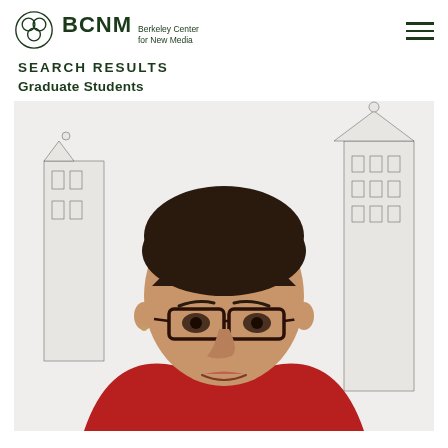BCNM Berkeley Center for New Media
SEARCH RESULTS
Graduate Students
[Figure (photo): Headshot photo of a young woman with dark hair pulled back, wearing glasses with dark frames and a red t-shirt. She is smiling slightly. Background shows a detailed black-and-white architectural illustration of ornate buildings/cathedrals.]